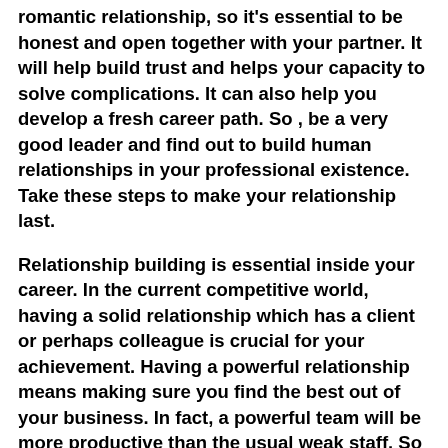romantic relationship, so it's essential to be honest and open together with your partner. It will help build trust and helps your capacity to solve complications. It can also help you develop a fresh career path. So , be a very good leader and find out to build human relationships in your professional existence. Take these steps to make your relationship last.
Relationship building is essential inside your career. In the current competitive world, having a solid relationship which has a client or perhaps colleague is crucial for your achievement. Having a powerful relationship means making sure you find the best out of your business. In fact, a powerful team will be more productive than the usual weak staff. So , you ought to be willing to pay attention to your co-workers and improve their work. You can also learn more about romantic relationship building